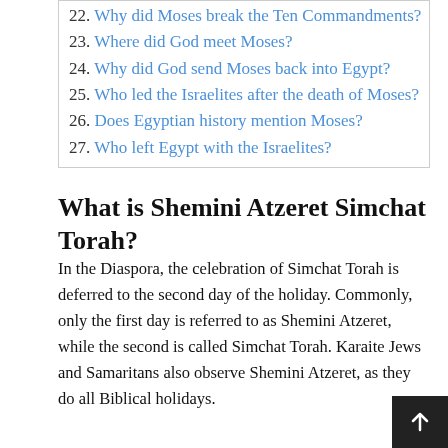22. Why did Moses break the Ten Commandments?
23. Where did God meet Moses?
24. Why did God send Moses back into Egypt?
25. Who led the Israelites after the death of Moses?
26. Does Egyptian history mention Moses?
27. Who left Egypt with the Israelites?
What is Shemini Atzeret Simchat Torah?
In the Diaspora, the celebration of Simchat Torah is deferred to the second day of the holiday. Commonly, only the first day is referred to as Shemini Atzeret, while the second is called Simchat Torah. Karaite Jews and Samaritans also observe Shemini Atzeret, as they do all Biblical holidays.
What is Shemini Atzeret and how is it celebrated?
Shemini Atzeret is the holiday that follows